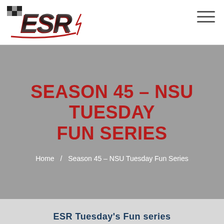[Figure (logo): ESR racing logo with checkered flag motif, red and silver letters on white background]
SEASON 45 – NSU TUESDAY FUN SERIES
Home / Season 45 – NSU Tuesday Fun Series
ESR Tuesday's Fun series